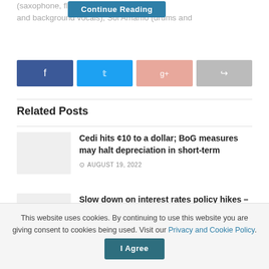(saxophone, flu… ntoh (trumpet and background vocals), Sol Amarfio (drums and
[Figure (other): Continue Reading button (teal/dark blue)]
[Figure (other): Social share buttons: Facebook, Twitter, Google+, Share]
Related Posts
Cedi hits ¢10 to a dollar; BoG measures may halt depreciation in short-term
AUGUST 19, 2022
Slow down on interest rates policy hikes – Ricketts-Hagan to BoG
This website uses cookies. By continuing to use this website you are giving consent to cookies being used. Visit our Privacy and Cookie Policy.